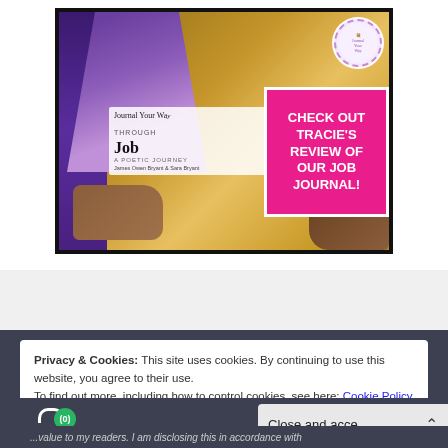[Figure (photo): Photo of a person holding a book titled 'Journal Your Way Through Job — A Poetic Journey'. Overlaid pink box reads: 'CHECK OUT TRACIE'S REVIEW OF OUR JOB JOURNAL!'. A decorative white circular sticker is visible in the top right corner.]
Privacy & Cookies: This site uses cookies. By continuing to use this website, you agree to their use.
To find out more, including how to control cookies, see here: Cookie Policy
Close and accept
...value to my readers. I am disclosing this in accordance with